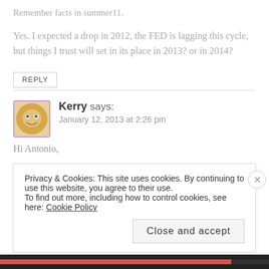Remember facts in summer11.
Yes. I expected a drop in 2012, the FED is lagging this cycle, but things I trust will set in its place in 2013? or in 2014?
REPLY
Kerry says:
January 12, 2013 at 2:26 pm
Hi Antonio,
Privacy & Cookies: This site uses cookies. By continuing to use this website, you agree to their use.
To find out more, including how to control cookies, see here: Cookie Policy
Close and accept